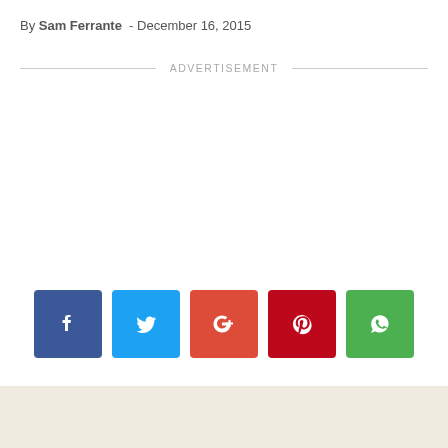By Sam Ferrante - December 16, 2015
ADVERTISEMENT
[Figure (infographic): Social media sharing buttons: Facebook (blue), Twitter (light blue), Google+ (red-orange), Pinterest (dark red), WhatsApp (green)]
[Figure (photo): Bottom strip showing partial image with light beige/cream background]